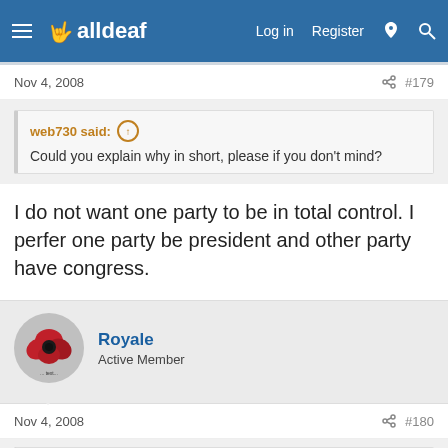alldeaf — Log in  Register
Nov 4, 2008  #179
web730 said: ↑
Could you explain why in short, please if you don't mind?
I do not want one party to be in total control. I perfer one party be president and other party have congress.
Royale
Active Member
Nov 4, 2008  #180
IslandGal said: ↑
LOL @ Royale and Jolie saying exactly the same thing at same time!!